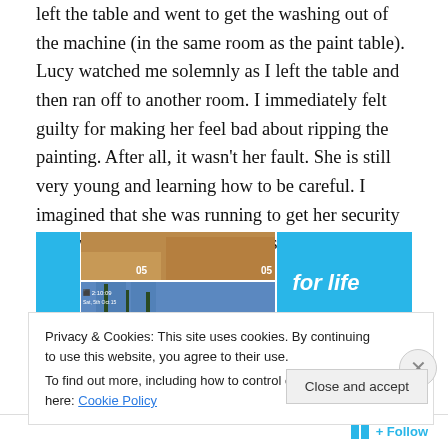left the table and went to get the washing out of the machine (in the same room as the paint table). Lucy watched me solemnly as I left the table and then ran off to another room. I immediately felt guilty for making her feel bad about ripping the painting. After all, it wasn't her fault. She is still very young and learning how to be careful. I imagined that she was running to get her security bunny which is her go-to when she is feeling low.
[Figure (screenshot): A collage of app screenshots showing blue UI panels with '05' labels and a beach/palm tree photo]
Privacy & Cookies: This site uses cookies. By continuing to use this website, you agree to their use.
To find out more, including how to control cookies, see here: Cookie Policy
Close and accept